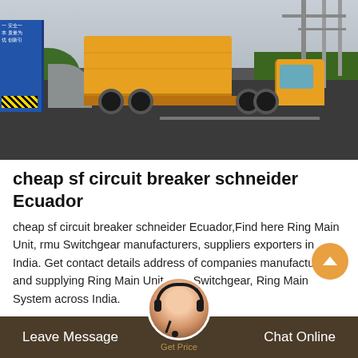[Figure (photo): A yellow delivery truck on a road at an industrial facility with green grass, poles, and a blue sign on the left.]
cheap sf circuit breaker schneider Ecuador
cheap sf circuit breaker schneider Ecuador,Find here Ring Main Unit, rmu Switchgear manufacturers, suppliers exporters in India. Get contact details address of companies manufacturing and supplying Ring Main Unit, rmu Switchgear, Ring Main System across India.